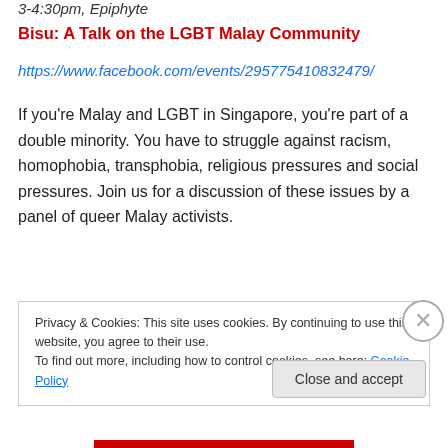3-4:30pm, Epiphyte
Bisu: A Talk on the LGBT Malay Community
https://www.facebook.com/events/295775410832479/
If you're Malay and LGBT in Singapore, you're part of a double minority. You have to struggle against racism, homophobia, transphobia, religious pressures and social pressures. Join us for a discussion of these issues by a panel of queer Malay activists.
This is a closed door event. Admittance is by registration. Please register by writing
Privacy & Cookies: This site uses cookies. By continuing to use this website, you agree to their use.
To find out more, including how to control cookies, see here: Cookie Policy